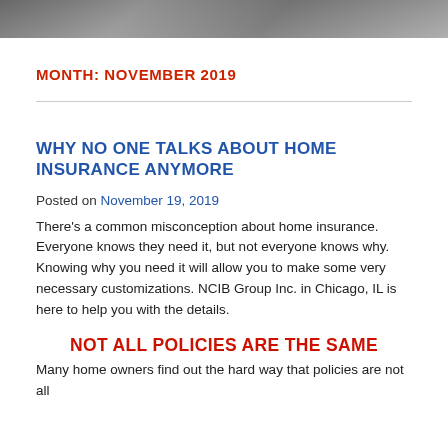[Figure (photo): Partial photo strip at top of page, showing what appears to be a person's hands or face, cropped.]
MONTH: NOVEMBER 2019
WHY NO ONE TALKS ABOUT HOME INSURANCE ANYMORE
Posted on November 19, 2019
There's a common misconception about home insurance. Everyone knows they need it, but not everyone knows why. Knowing why you need it will allow you to make some very necessary customizations. NCIB Group Inc. in Chicago, IL is here to help you with the details.
NOT ALL POLICIES ARE THE SAME
Many home owners find out the hard way that policies are not all...